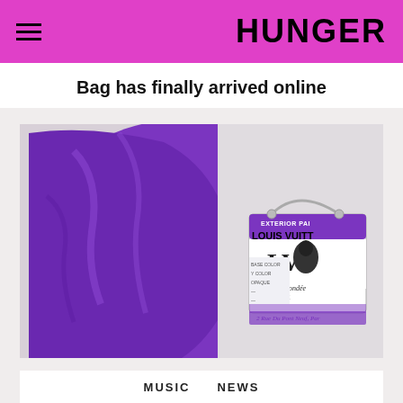HUNGER
Bag has finally arrived online
[Figure (photo): A Louis Vuitton paint can-shaped bag hanging from a purple/violet fabric sleeve. The bag resembles a paint can with the Louis Vuitton logo, text reading 'LOUIS VUITT', 'Maison Fondée en 1854', '2 Rue Du Pont Neuf, Par', and 'EXTERIOR PAINT'. The bag has a wire handle and purple striped design.]
MUSIC  NEWS